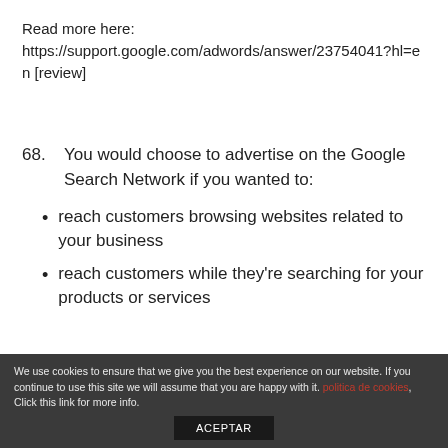Read more here:
https://support.google.com/adwords/answer/23754041?hl=en [review]
68. You would choose to advertise on the Google Search Network if you wanted to:
reach customers browsing websites related to your business
reach customers while they're searching for your products or services
We use cookies to ensure that we give you the best experience on our website. If you continue to use this site we will assume that you are happy with it. politica de cookies, Click this link for more info.